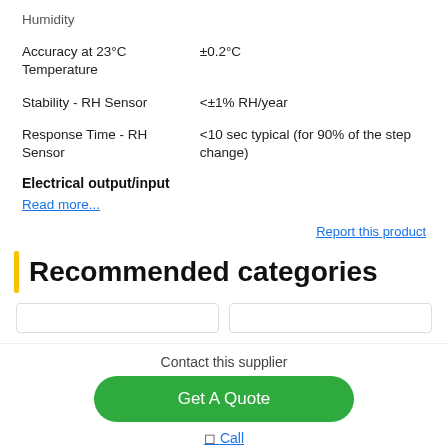| Property | Value |
| --- | --- |
| Humidity |  |
| Accuracy at 23°C Temperature | ±0.2°C |
| Stability - RH Sensor | <±1% RH/year |
| Response Time - RH Sensor | <10 sec typical (for 90% of the step change) |
Electrical output/input
Read more...
Report this product
Recommended categories
[Figure (other): Two category box cards partially visible]
Contact this supplier
Get A Quote
Call